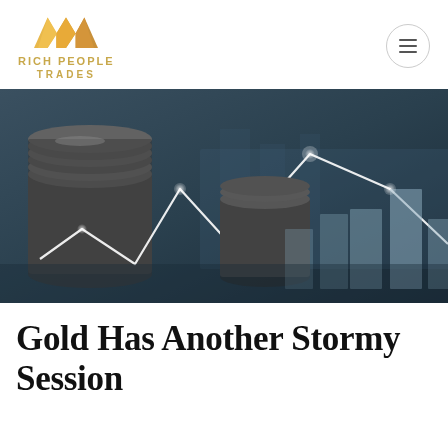RICH PEOPLE TRADES
[Figure (photo): Financial photo showing stacked coins with overlaid line and bar chart graphics in teal/dark tones — a stock market investment themed hero image]
Gold Has Another Stormy Session